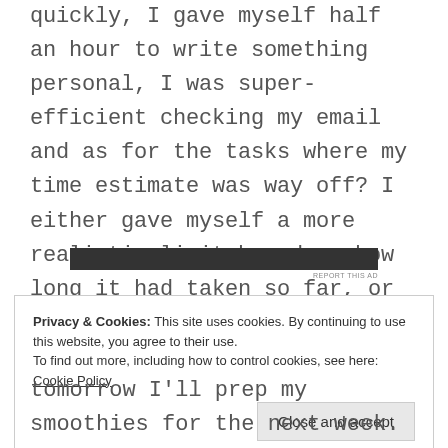quickly, I gave myself half an hour to write something personal, I was super-efficient checking my email and as for the tasks where my time estimate was way off? I either gave myself a more realistic limit based on how long it had taken so far, or moved on to something else and changed the estimate in my To Do list for when I have to do that task again in the future.
[Figure (other): Dark advertisement banner with report this ad label below]
Privacy & Cookies: This site uses cookies. By continuing to use this website, you agree to their use.
To find out more, including how to control cookies, see here: Cookie Policy
tomorrow I'll prep my smoothies for the next week.